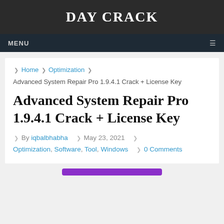DAY CRACK
MENU
Home › Optimization › Advanced System Repair Pro 1.9.4.1 Crack + License Key
Advanced System Repair Pro 1.9.4.1 Crack + License Key
By iqbalbhabha  May 23, 2021  Optimization, Software, Tool, Windows  0 Comments